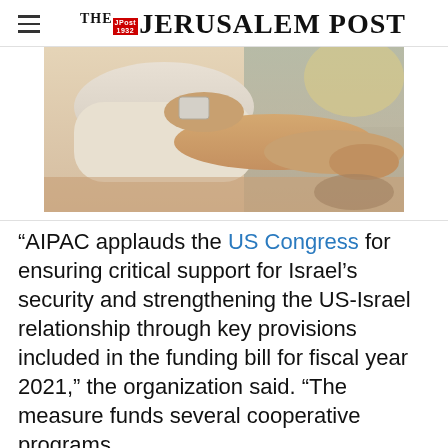THE JERUSALEM POST
[Figure (photo): Partial view of a person relaxing on a beach, legs visible, near the sea with sunlight in the background]
“AIPAC applauds the US Congress for ensuring critical support for Israel’s security and strengthening the US-Israel relationship through key provisions included in the funding bill for fiscal year 2021,” the organization said. “The measure funds several cooperative programs
Advertisement